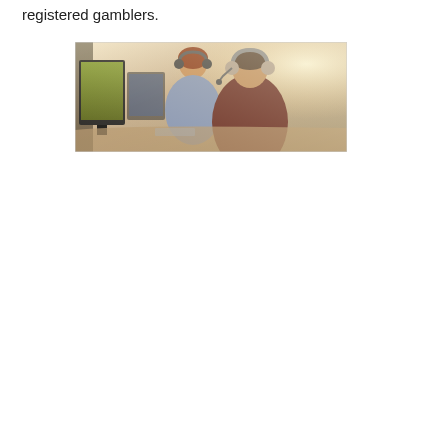registered gamblers.
[Figure (photo): Two people wearing headsets sitting at computer workstations in an office environment, viewed from the side. A woman in the background and a man in the foreground, both working at monitors. Bright window light in the background.]